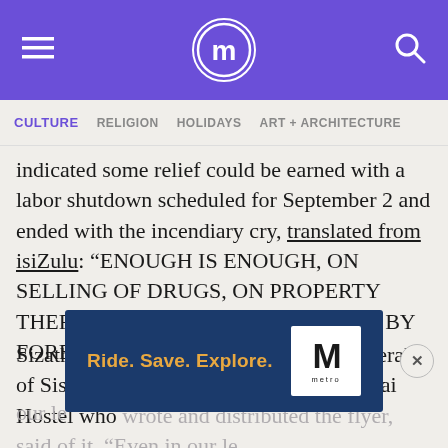≡  (logo)  🔍
CULTURE  RELIGION  HOLIDAYS  ART + ARCHITECTURE
indicated some relief could be earned with a labor shutdown scheduled for September 2 and ended with the incendiary cry, translated from isiZulu: "ENOUGH IS ENOUGH, ON SELLING OF DRUGS, ON PROPERTY THEFT, AND ON OUR WORK TAKEN BY FOREIGN NATIONALS."
Sizathu Mkhize, who is the treasurer-general of Sisonke Peoples Forum of KwaMai-Mai Hostel who wrote and distributed the flyer, said of it, "Even in our le... (ad overlay) ...ut the concre... ...ng of what xenophobia is, he continued, "Whe...
[Figure (screenshot): Advertisement banner: dark navy blue background with orange text 'Ride. Save. Explore.' and Metro logo (white M on white box with 'metro' text below)]